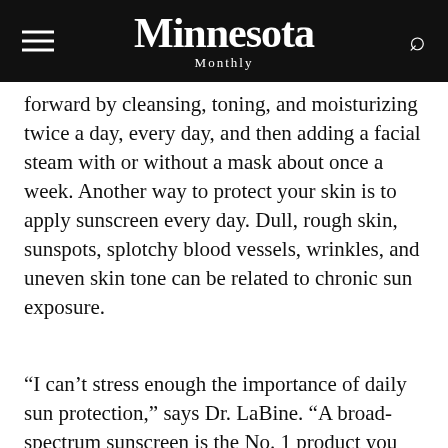Minnesota Monthly
forward by cleansing, toning, and moisturizing twice a day, every day, and then adding a facial steam with or without a mask about once a week. Another way to protect your skin is to apply sunscreen every day. Dull, rough skin, sunspots, splotchy blood vessels, wrinkles, and uneven skin tone can be related to chronic sun exposure.
“I can’t stress enough the importance of daily sun protection,” says Dr. LaBine. “A broad-spectrum sunscreen is the No. 1 product you can buy.” He points out that the majority of our sun exposure is incidental—walking to and from our car, driving, sitting all day near a window at work–which is why sun